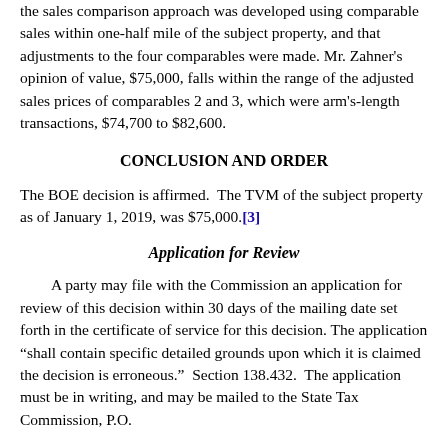the sales comparison approach was developed using comparable sales within one-half mile of the subject property, and that adjustments to the four comparables were made. Mr. Zahner's opinion of value, $75,000, falls within the range of the adjusted sales prices of comparables 2 and 3, which were arm's-length transactions, $74,700 to $82,600.
CONCLUSION AND ORDER
The BOE decision is affirmed.  The TVM of the subject property as of January 1, 2019, was $75,000.[3]
Application for Review
A party may file with the Commission an application for review of this decision within 30 days of the mailing date set forth in the certificate of service for this decision. The application “shall contain specific detailed grounds upon which it is claimed the decision is erroneous.”  Section 138.432.  The application must be in writing, and may be mailed to the State Tax Commission, P.O.